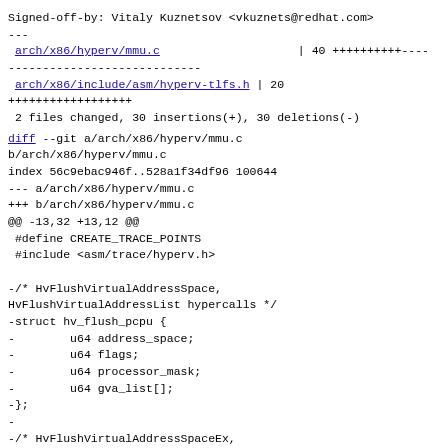Signed-off-by: Vitaly Kuznetsov <vkuznets@redhat.com>
---
 arch/x86/hyperv/mmu.c                    | 40 ++++++++++----
----------------------------
 arch/x86/include/asm/hyperv-tlfs.h | 20
++++++++++++++++++
 2 files changed, 30 insertions(+), 30 deletions(-)
diff --git a/arch/x86/hyperv/mmu.c
b/arch/x86/hyperv/mmu.c
index 56c9ebac946f..528a1f34df96 100644
--- a/arch/x86/hyperv/mmu.c
+++ b/arch/x86/hyperv/mmu.c
@@ -13,32 +13,12 @@
 #define CREATE_TRACE_POINTS
 #include <asm/trace/hyperv.h>

-/* HvFlushVirtualAddressSpace,
HvFlushVirtualAddressList hypercalls */
-struct hv_flush_pcpu {
-        u64 address_space;
-        u64 flags;
-        u64 processor_mask;
-        u64 gva_list[];
-};
-
-/* HvFlushVirtualAddressSpaceEx,
HvFlushVirtualAddressListEx hypercalls */
-struct hv_flush_pcpu_ex {